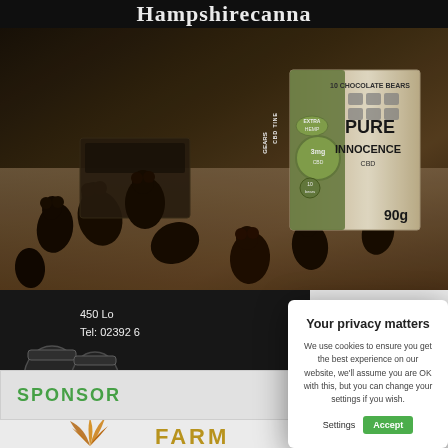Hampshirecanna
[Figure (photo): Product photo showing Pure Innocence CBD chocolate bears (90g box with 10 chocolate bears) with dark chocolate bear-shaped candies scattered around, on a dark background]
[Figure (photo): Partial view of left sidebar showing address '450 Lo...' and 'Tel: 02392 6...' with Pure Innocence CBD jars product and label 'Pure innoce... CBD']
SPONSOR
[Figure (photo): Bottom sponsor area showing a plant/leaf illustration and partial 'FARM' text in gold lettering]
Your privacy matters
We use cookies to ensure you get the best experience on our website, we'll assume you are OK with this, but you can change your settings if you wish.
Settings
Accept